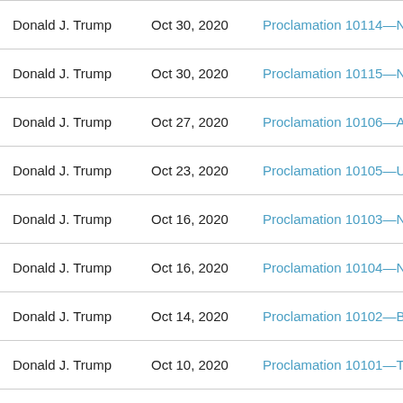| Author | Date | Title |
| --- | --- | --- |
| Donald J. Trump | Oct 30, 2020 | Proclamation 10114—Natio… |
| Donald J. Trump | Oct 30, 2020 | Proclamation 10115—Natio… |
| Donald J. Trump | Oct 27, 2020 | Proclamation 10106—Adjus… |
| Donald J. Trump | Oct 23, 2020 | Proclamation 10105—Unite… |
| Donald J. Trump | Oct 16, 2020 | Proclamation 10103—Natio… |
| Donald J. Trump | Oct 16, 2020 | Proclamation 10104—Natio… |
| Donald J. Trump | Oct 14, 2020 | Proclamation 10102—Blind… |
| Donald J. Trump | Oct 10, 2020 | Proclamation 10101—To Fu… |
| Donald J. Trump | Oct 09, 2020 | Proclamation 10098—Natio… |